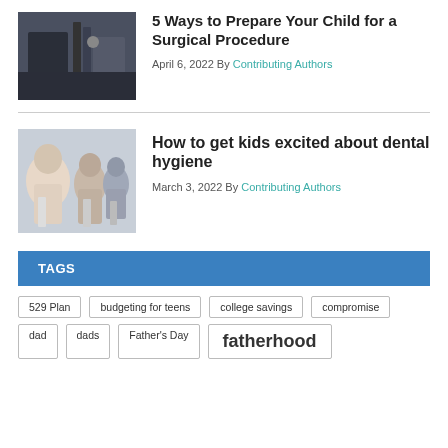[Figure (photo): Child in hospital or medical setting, surgical equipment visible, dark tones]
5 Ways to Prepare Your Child for a Surgical Procedure
April 6, 2022 By Contributing Authors
[Figure (photo): Father and two children brushing teeth together]
How to get kids excited about dental hygiene
March 3, 2022 By Contributing Authors
TAGS
529 Plan
budgeting for teens
college savings
compromise
dad
dads
Father's Day
fatherhood